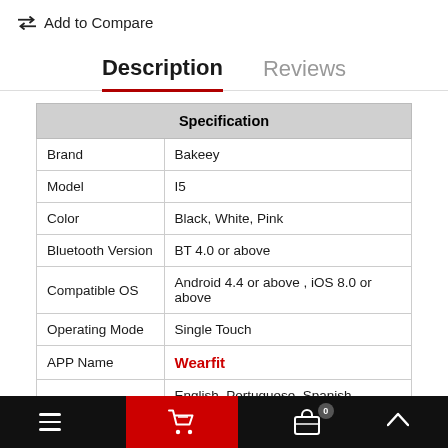⇄ Add to Compare
Description | Reviews
| Specification |  |
| --- | --- |
| Brand | Bakeey |
| Model | I5 |
| Color | Black, White, Pink |
| Bluetooth Version | BT 4.0 or above |
| Compatible OS | Android 4.4 or above , iOS 8.0 or above |
| Operating Mode | Single Touch |
| APP Name | Wearfit |
|  | English, Portuguese, Spanish, French, German, Italian, Polish, Russian, |
≡  [cart] 0  ∧